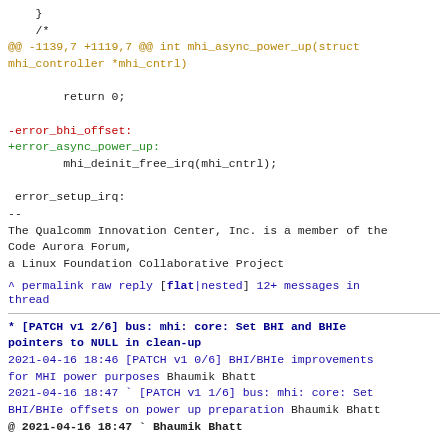}

/*
@@ -1139,7 +1119,7 @@ int mhi_async_power_up(struct mhi_controller *mhi_cntrl)

        return 0;

-error_bhi_offset:
+error_async_power_up:
        mhi_deinit_free_irq(mhi_cntrl);

 error_setup_irq:
--
The Qualcomm Innovation Center, Inc. is a member of the Code Aurora Forum,
a Linux Foundation Collaborative Project
^ permalink raw reply  [flat|nested] 12+ messages in thread
* [PATCH v1 2/6] bus: mhi: core: Set BHI and BHIe pointers to NULL in clean-up
  2021-04-16 18:46 [PATCH v1 0/6] BHI/BHIe improvements for MHI power purposes Bhaumik Bhatt
  2021-04-16 18:47 ` [PATCH v1 1/6] bus: mhi: core: Set BHI/BHIe offsets on power up preparation Bhaumik Bhatt
@ 2021-04-16 18:47 ` Bhaumik Bhatt